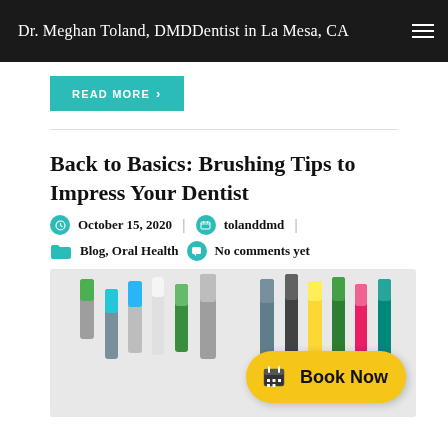Dr. Meghan Toland, DMDDentist in La Mesa, CA
READ MORE
Back to Basics: Brushing Tips to Impress Your Dentist
October 15, 2020 | tolanddmd
Blog, Oral Health | No comments yet
[Figure (photo): Multiple colorful toothbrushes standing upright against a white background, with a yellow 'Book Now' button overlay in the bottom right]